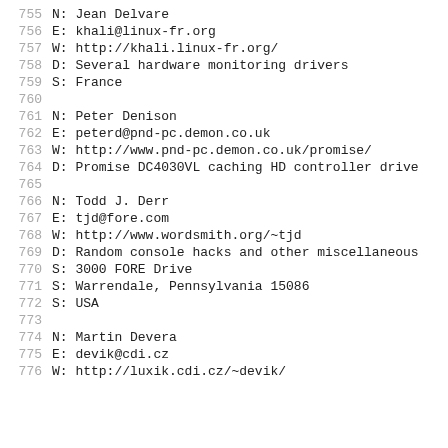755  N: Jean Delvare
756  E: khali@linux-fr.org
757  W: http://khali.linux-fr.org/
758  D: Several hardware monitoring drivers
759  S: France
760
761  N: Peter Denison
762  E: peterd@pnd-pc.demon.co.uk
763  W: http://www.pnd-pc.demon.co.uk/promise/
764  D: Promise DC4030VL caching HD controller drive
765
766  N: Todd J. Derr
767  E: tjd@fore.com
768  W: http://www.wordsmith.org/~tjd
769  D: Random console hacks and other miscellaneous
770  S: 3000 FORE Drive
771  S: Warrendale, Pennsylvania 15086
772  S: USA
773
774  N: Martin Devera
775  E: devik@cdi.cz
776  ...